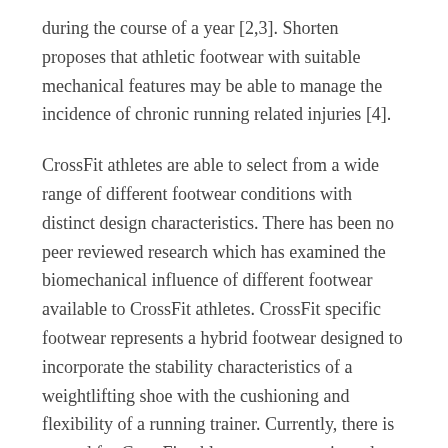during the course of a year [2,3]. Shorten proposes that athletic footwear with suitable mechanical features may be able to manage the incidence of chronic running related injuries [4].
CrossFit athletes are able to select from a wide range of different footwear conditions with distinct design characteristics. There has been no peer reviewed research which has examined the biomechanical influence of different footwear available to CrossFit athletes. CrossFit specific footwear represents a hybrid footwear designed to incorporate the stability characteristics of a weightlifting shoe with the cushioning and flexibility of a running trainer. Currently, there is a trend for CrossFit athletes to opt to train and compete either barefoot or minimalist footwear in lieu of traditional